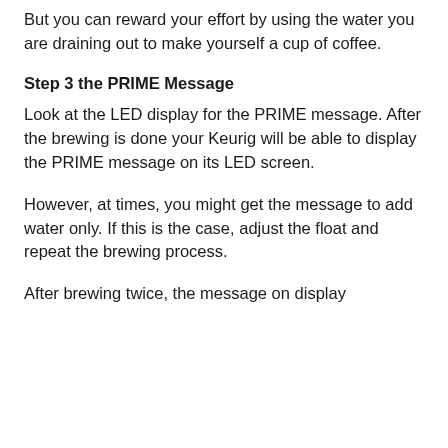But you can reward your effort by using the water you are draining out to make yourself a cup of coffee.
Step 3 the PRIME Message
Look at the LED display for the PRIME message. After the brewing is done your Keurig will be able to display the PRIME message on its LED screen.
However, at times, you might get the message to add water only. If this is the case, adjust the float and repeat the brewing process.
After brewing twice, the message on display